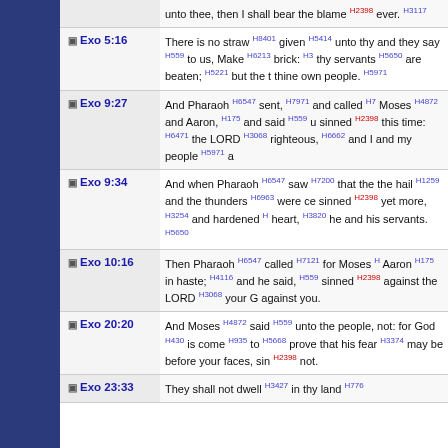unto thee, then I shall bear the blame H2398 ever. H3117
Exo 5:16 — There is no straw H8401 given H5414 unto thy and they say H559 to us, Make H6213 brick: H3 thy servants H5650 are beaten; H5221 but the t thine own people. H5971
Exo 9:27 — And Pharaoh H6547 sent, H7971 and called H7 Moses H4872 and Aaron, H175 and said H559 u sinned H2398 this time: H6471 the LORD H3068 righteous, H6662 and I and my people H5971 a
Exo 9:34 — And when Pharaoh H6547 saw H7200 that the the hail H1259 and the thunders H6963 were ce sinned H2398 yet more, H3254 and hardened H heart, H3820 he and his servants. H5650
Exo 10:16 — Then Pharaoh H6547 called H7121 for Moses H Aaron H175 in haste; H4116 and he said, H559 sinned H2398 against the LORD H3068 your G against you.
Exo 20:20 — And Moses H4872 said H559 unto the people, not: for God H430 is come H935 to H5668 prove that his fear H3374 may be before your faces, sin H2398 not.
Exo 23:33 — They shall not dwell H3427 in thy land H776